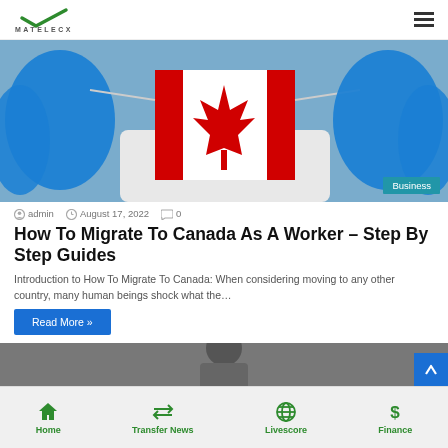MATELECX
[Figure (photo): Person wearing blue surgical gloves holding a Canadian flag face mask; Business category badge visible in lower right corner]
admin  August 17, 2022  0
How To Migrate To Canada As A Worker – Step By Step Guides
Introduction to How To Migrate To Canada: When considering moving to any other country, many human beings shock what the…
Read More »
[Figure (photo): Partial view of a second article hero image, cropped at bottom of page]
Home  Transfer News  Livescore  Finance